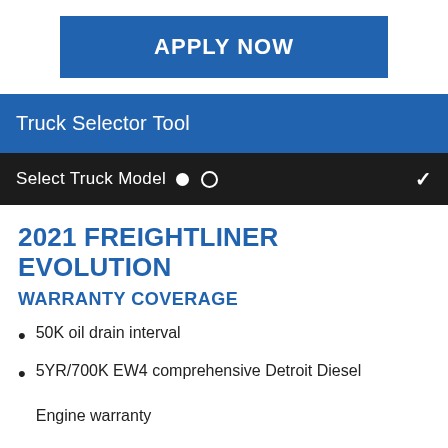APPLY NOW
Truck Selector Tool
Select Truck Model ● ○
2021 FREIGHTLINER EVOLUTION
WARRANTY COVERAGE
50K oil drain interval
5YR/700K EW4 comprehensive Detroit Diesel Engine warranty